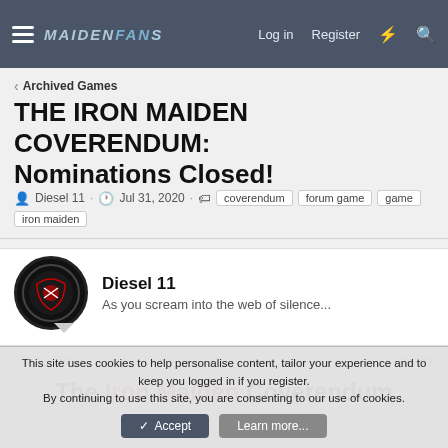MaidenFans — Log in  Register
< Archived Games
THE IRON MAIDEN COVERENDUM: Nominations Closed!
Diesel 11 · Jul 31, 2020 · coverendum  forum game  game  iron maiden
Diesel 11
As you scream into the web of silence...
Jul 31, 2020   #1
The Iron Maiden Coverendum
This site uses cookies to help personalise content, tailor your experience and to keep you logged in if you register.
By continuing to use this site, you are consenting to our use of cookies.